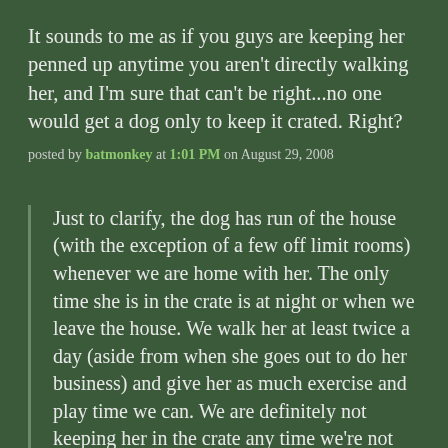It sounds to me as if you guys are keeping her penned up anytime you aren't directly walking her, and I'm sure that can't be right...no one would get a dog only to keep it crated. Right?
posted by batmonkey at 1:01 PM on August 29, 2008
Just to clarify, the dog has run of the house (with the exception of a few off limit rooms) whenever we are home with her. The only time she is in the crate is at night or when we leave the house. We walk her at least twice a day (aside from when she goes out to do her business) and give her as much exercise and play time we can. We are definitely not keeping her in the crate any time we're not directly walking her - that would be cruel.
I should also point out that she doesn't really have to pee when she cries. I took her out that one time because she